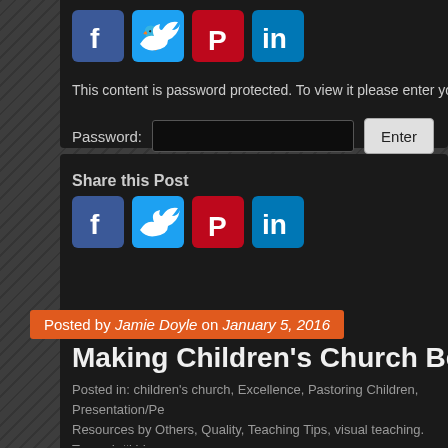[Figure (screenshot): Social share icons (Facebook, Twitter, Pinterest, LinkedIn) at top of page]
This content is password protected. To view it please enter your pa
Password: [input field] Enter
Share this Post
[Figure (screenshot): Social share icons (Facebook, Twitter, Pinterest, LinkedIn) second set]
Posted by Jamie Doyle on January 5, 2016
Making Children's Church Better: T
Posted in: children's church, Excellence, Pastoring Children, Presentation/Pe
Resources by Others, Quality, Teaching Tips, visual teaching. Tagged: #kidm
church, Transitions. 2 comments
Share this Post